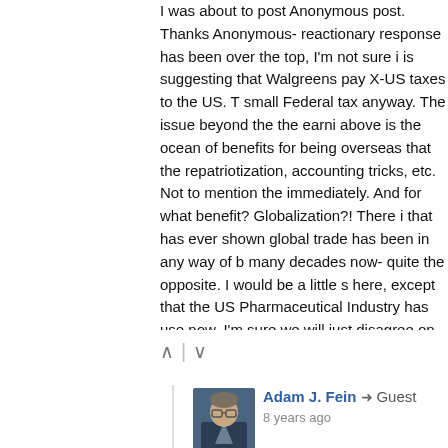I was about to post Anonymous post. Thanks Anonymous- reactionary response has been over the top, I'm not sure is suggesting that Walgreens pay X-US taxes to the US. T small Federal tax anyway. The issue beyond the the earni above is the ocean of benefits for being overseas that the repatriotization, accounting tricks, etc. Not to mention the immediately. And for what benefit? Globalization?! There i that has ever shown global trade has been in any way of b many decades now- quite the opposite. I would be a little here, except that the US Pharmaceutical Industry has use now. I'm sure we will just disagree on this one. But, a por may not be so forgiving. What Walgreens will show them,
Adam J. Fein → Guest
8 years ago
Just so you know, I have been very skeptical of the Allia Walgreen+Alliance Boots: Questions about Global Pha
But after the Alliance Boots transaction is completed, th will get almost half of its revenues from ex-US retail an South America). It will be a global company with major Stefano Pessina, the single largest shareholder, is not